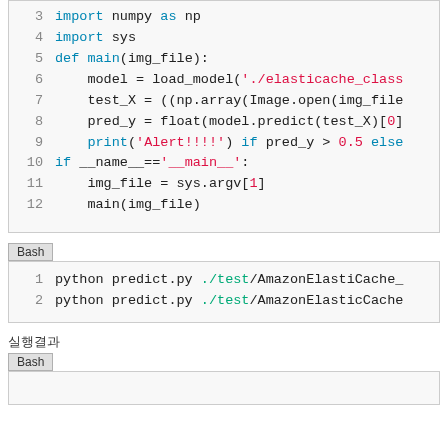[Figure (screenshot): Python code block lines 3-12 showing import numpy, import sys, def main function with load_model, test_X, pred_y, print statements, and if __name__ == '__main__' block]
Bash
[Figure (screenshot): Bash code block lines 1-2: python predict.py ./test/AmazonElastiCache_... and python predict.py ./test/AmazonElasticCache]
실행결과
Bash